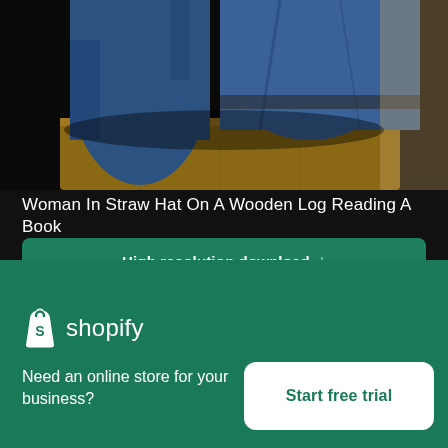[Figure (photo): Partial view of a person in denim jeans sitting on a wooden log, photographed from below/side angle, dark background]
Woman In Straw Hat On A Wooden Log Reading A Book
High resolution download ↓
[Figure (photo): Outdoor nature scene with trees and light sky, partial view suggesting person with straw hat in foreground]
×
[Figure (logo): Shopify logo — white shopping bag icon with 'S' and the word 'shopify' in white text]
Need an online store for your business?
Start free trial